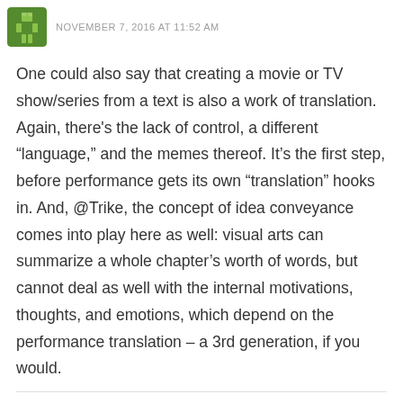NOVEMBER 7, 2016 AT 11:52 AM
One could also say that creating a movie or TV show/series from a text is also a work of translation. Again, there's the lack of control, a different “language,” and the memes thereof. It’s the first step, before performance gets its own “translation” hooks in. And, @Trike, the concept of idea conveyance comes into play here as well: visual arts can summarize a whole chapter’s worth of words, but cannot deal as well with the internal motivations, thoughts, and emotions, which depend on the performance translation – a 3rd generation, if you would.